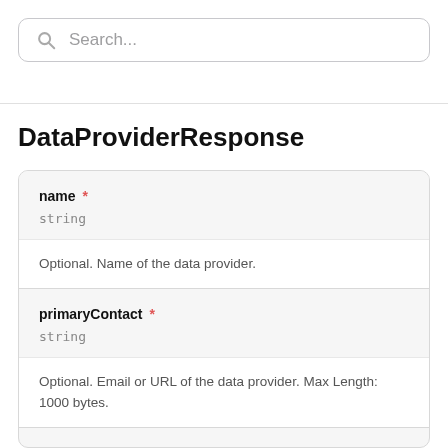[Figure (other): Search bar with magnifying glass icon and placeholder text 'Search...']
DataProviderResponse
name * string
Optional. Name of the data provider.
primaryContact * string
Optional. Email or URL of the data provider. Max Length: 1000 bytes.